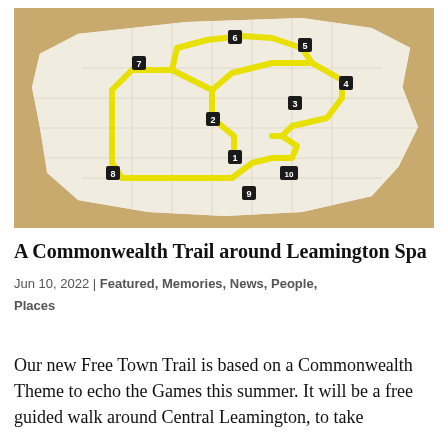[Figure (map): A route map of Leamington Spa showing a Commonwealth Trail with 10 numbered stops connected by a yellow highlighted path on a street map background.]
A Commonwealth Trail around Leamington Spa
Jun 10, 2022 | Featured, Memories, News, People, Places
Our new Free Town Trail is based on a Commonwealth Theme to echo the Games this summer. It will be a free guided walk around Central Leamington, to take